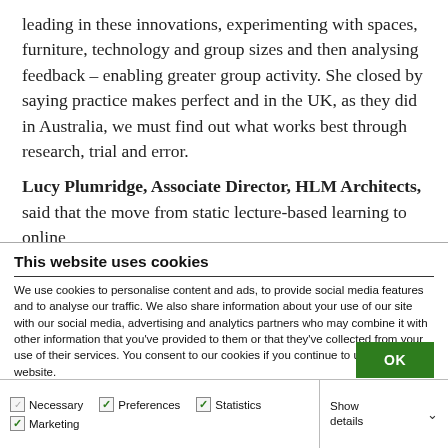leading in these innovations, experimenting with spaces, furniture, technology and group sizes and then analysing feedback – enabling greater group activity. She closed by saying practice makes perfect and in the UK, as they did in Australia, we must find out what works best through research, trial and error.
Lucy Plumridge, Associate Director, HLM Architects, said that the move from static lecture-based learning to online
This website uses cookies
We use cookies to personalise content and ads, to provide social media features and to analyse our traffic. We also share information about your use of our site with our social media, advertising and analytics partners who may combine it with other information that you've provided to them or that they've collected from your use of their services. You consent to our cookies if you continue to use our website.
OK
Necessary | Preferences | Statistics | Marketing | Show details